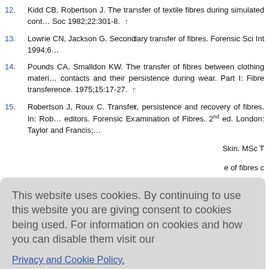12. Kidd CB, Robertson J. The transfer of textile fibres during simulated contacts. J Forensic Sci Soc 1982;22:301-8. ↑
13. Lowrie CN, Jackson G. Secondary transfer of fibres. Forensic Sci Int 1994;6...
14. Pounds CA, Smalldon KW. The transfer of fibres between clothing materials during simulated contacts and their persistence during wear. Part I: Fibre transference. J Forensic Sci Soc 1975;15:17-27. ↑
15. Robertson J, Roux C. Transfer, persistence and recovery of fibres. In: Rob... editors. Forensic Examination of Fibres. 2nd ed. London: Taylor and Francis;...
This website uses cookies. By continuing to use this website you are giving consent to cookies being used. For information on cookies and how you can disable them visit our Privacy and Cookie Policy.
20. Dann TJ, Carr DJ, Laing RM, Niven BE, Kieser J. Tearing of knicker fabr...